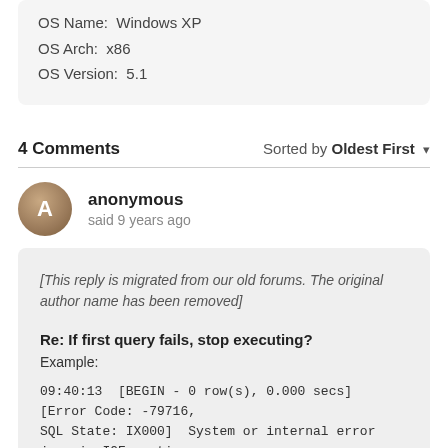OS Name:  Windows XP
OS Arch:  x86
OS Version:  5.1
4 Comments
Sorted by Oldest First
anonymous
said 9 years ago
[This reply is migrated from our old forums. The original author name has been removed]

Re: If first query fails, stop executing?
Example:

09:40:13  [BEGIN - 0 row(s), 0.000 secs]  [Error Code: -79716, SQL State: IX000]  System or internal error java.io.IOException ... Physical database connection acquired for: Backoffice Development (informix)